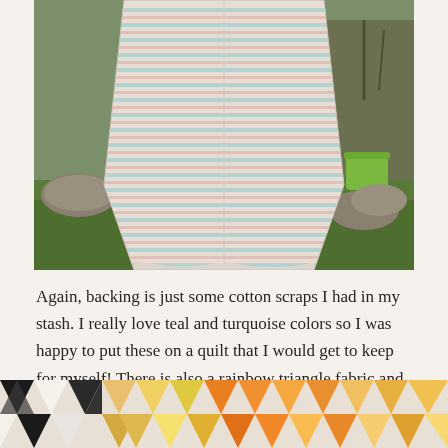[Figure (photo): A quilt with light blue, pink and white striped pattern draped outdoors on green grass, with garden stones and plants in the background. A green bucket is visible on the right.]
Again, backing is just some cotton scraps I had in my stash. I really love teal and turquoise colors so I was happy to put these on a quilt that I would get to keep for myself! There is also a rainbow triangle fabric and a beige fabric on there. Nothing fancy.
[Figure (photo): Partial view of a quilt with colorful diamond/triangle pattern in black, white, yellow, orange and other colors.]